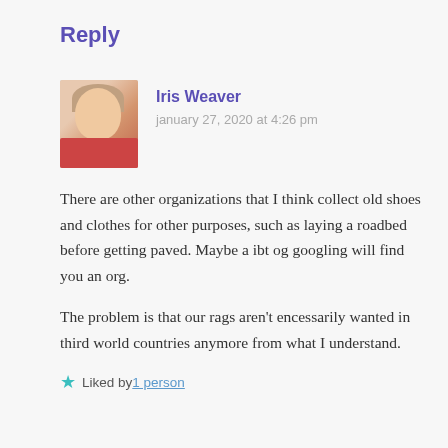Reply
Iris Weaver
january 27, 2020 at 4:26 pm
There are other organizations that I think collect old shoes and clothes for other purposes, such as laying a roadbed before getting paved. Maybe a ibt og googling will find you an org.
The problem is that our rags aren't encessarily wanted in third world countries anymore from what I understand.
Liked by 1 person